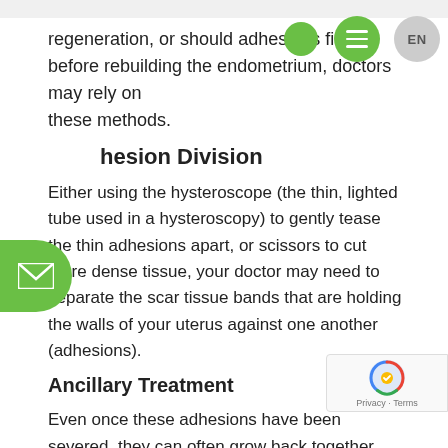regeneration, or should adhesions first be treated before rebuilding the endometrium, doctors may rely on these methods.
Adhesion Division
Either using the hysteroscope (the thin, lighted tube used in a hysteroscopy) to gently tease the thin adhesions apart, or scissors to cut more dense tissue, your doctor may need to separate the scar tissue bands that are holding the walls of your uterus against one another (adhesions).
Ancillary Treatment
Even once these adhesions have been severed, they can often grow back together. Because of this, doctors may employ ancillary treatments, or certain procedures designed to stop this from happening.